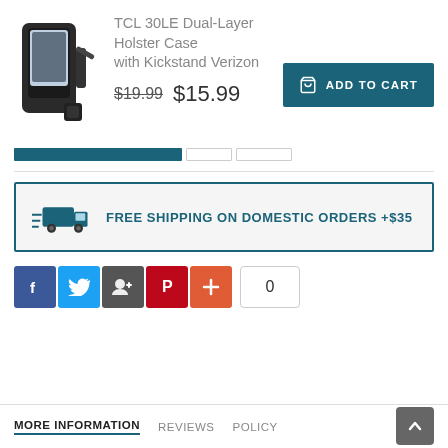[Figure (photo): Product photo of TCL 30LE Dual-Layer Holster Case with Kickstand, black rugged phone case]
TCL 30LE Dual-Layer Holster Case with Kickstand Verizon
$19.99  $15.99
[Figure (other): Add to Cart button]
[Figure (other): Navigation tabs bar with active teal tab and two empty box tabs]
[Figure (other): Free Shipping on Domestic Orders +$35 banner with truck icon, teal border]
[Figure (other): Social share buttons: Facebook, Twitter, Google+, Pinterest, Plus, and share count 0]
MORE INFORMATION   REVIEWS   POLICY